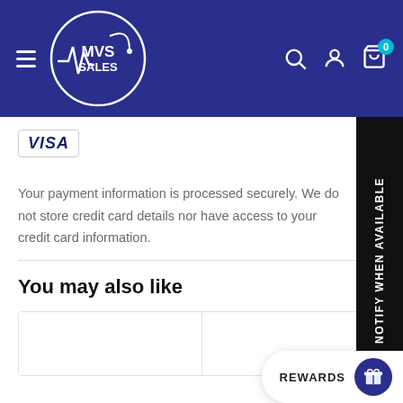[Figure (logo): MVS Sales website header with logo, hamburger menu, search, account, and cart icons on dark blue background]
[Figure (logo): VISA payment method badge]
Your payment information is processed securely. We do not store credit card details nor have access to your credit card information.
You may also like
[Figure (other): Product card thumbnails row]
NOTIFY WHEN AVAILABLE
REWARDS